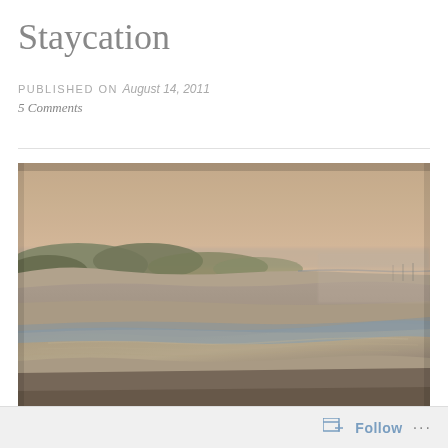Staycation
PUBLISHED ON August 14, 2011
5 Comments
[Figure (photo): Beach scene at sunset or sunrise: a wide sandy beach with gentle waves, wet sand reflecting golden-pink light, sand dunes with low vegetation along the left, calm water and misty horizon in the background.]
Follow ...